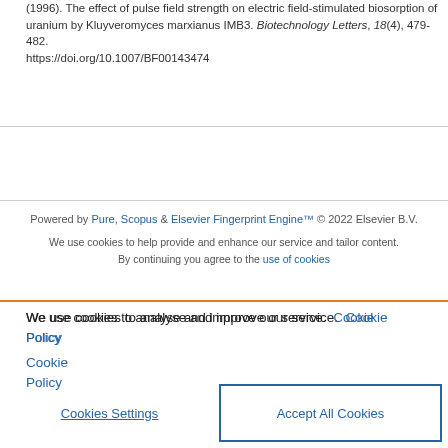(1996). The effect of pulse field strength on electric field-stimulated biosorption of uranium by Kluyveromyces marxianus IMB3. Biotechnology Letters, 18(4), 479-482. https://doi.org/10.1007/BF00143474
Powered by Pure, Scopus & Elsevier Fingerprint Engine™ © 2022 Elsevier B.V.
We use cookies to help provide and enhance our service and tailor content. By continuing you agree to the use of cookies
We use cookies to analyse and improve our service. Cookie Policy
Cookies Settings
Accept All Cookies